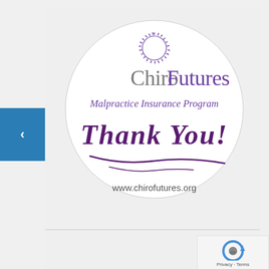[Figure (logo): ChiroFutures Malpractice Insurance Program circular logo with starburst icon, 'ChiroFutures' brand name, 'Malpractice Insurance Program' subtitle, 'Thank You!' handwritten text with underline flourish, and 'www.chirofutures.org' URL, all inside a white circle with thin border on light gray background]
Privacy · Terms